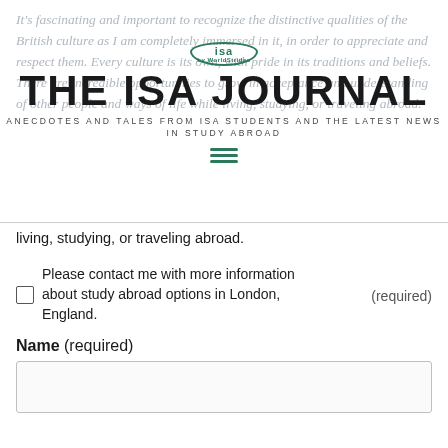It's fascinating and important to recognize the distinctive qualities of the British culture as I am completely immersed in it, in order to appreciate and respect them. Every culture is its own, with pride in its traditions and beliefs. There are incredible opportunities to grow in acceptance and understanding of other people and ways of life while living, studying, or traveling abroad.
THE ISA JOURNAL
ANECDOTES AND TALES FROM ISA STUDENTS AND THE LATEST NEWS IN STUDY ABROAD
living, studying, or traveling abroad.
Please contact me with more information about study abroad options in London, England. (required)
Name (required)